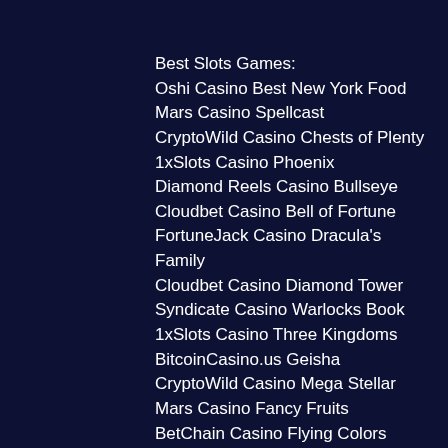Best Slots Games:
Oshi Casino Best New York Food
Mars Casino Spellcast
CryptoWild Casino Chests of Plenty
1xSlots Casino Phoenix
Diamond Reels Casino Bullseye
Cloudbet Casino Bell of Fortune
FortuneJack Casino Dracula's Family
Cloudbet Casino Diamond Tower
Syndicate Casino Warlocks Book
1xSlots Casino Three Kingdoms
BitcoinCasino.us Geisha
CryptoWild Casino Mega Stellar
Mars Casino Fancy Fruits
BetChain Casino Flying Colors
Mars Casino Irish Gold
https://www.yourfuturewithdisha.com/profile/durkeeciucci7/profile
https://www.flavorsonfirehouston.com/profile/...